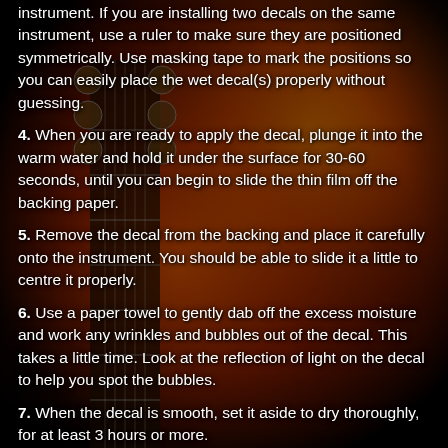[Figure (photo): Background photo of a guitar headstock with tuning pegs overlaid on a dramatic fire/flame image against a dark background]
instrument. If you are installing two decals on the same instrument, use a ruler to make sure they are positioned symmetrically. Use masking tape to mark the positions so you can easily place the wet decal(s) properly without guessing.
4. When you are ready to apply the decal, plunge it into the warm water and hold it under the surface for 30-60 seconds, until you can begin to slide the thin film off the backing paper.
5. Remove the decal from the backing and place it carefully onto the instrument. You should be able to slide it a little to centre it properly.
6. Use a paper towel to gently dab off the excess moisture and work any wrinkles and bubbles out of the decal. This takes a little time. Look at the reflection of light on the decal to help you spot the bubbles.
7. When the decal is smooth, set it aside to dry thoroughly, for at least 3 hours or more.
8. After the decal is fully dry  you can apply a top coat of clear